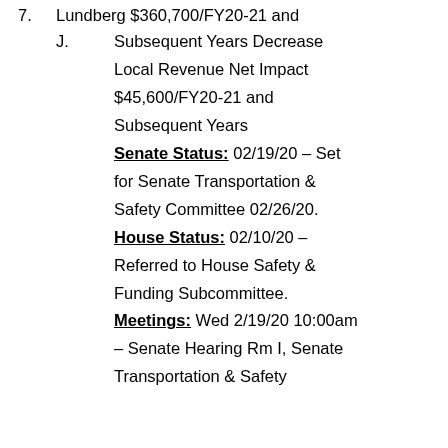7. Lundberg $360,700/FY20-21 and
J. Subsequent Years Decrease Local Revenue Net Impact $45,600/FY20-21 and Subsequent Years Senate Status: 02/19/20 – Set for Senate Transportation & Safety Committee 02/26/20. House Status: 02/10/20 – Referred to House Safety & Funding Subcommittee. Meetings: Wed 2/19/20 10:00am – Senate Hearing Rm I, Senate Transportation & Safety